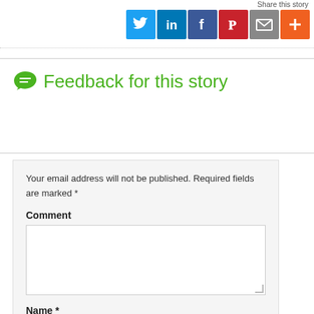Share this story
[Figure (infographic): Social share icons: Twitter (blue), LinkedIn (dark blue), Facebook (dark blue), Pinterest (red), Email (grey), More/Plus (orange)]
Feedback for this story
Your email address will not be published. Required fields are marked *
Comment
Name *